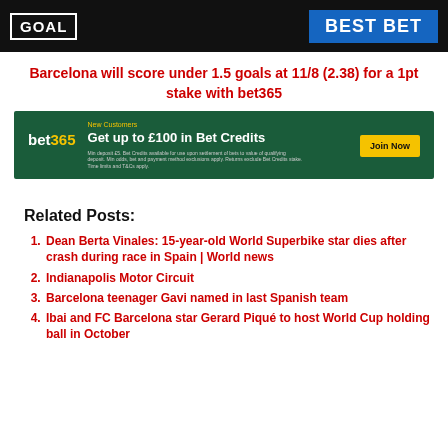GOAL | BEST BET
Barcelona will score under 1.5 goals at 11/8 (2.38) for a 1pt stake with bet365
[Figure (infographic): bet365 advertisement banner: New Customers - Get up to £100 in Bet Credits. Join Now button.]
Related Posts:
Dean Berta Vinales: 15-year-old World Superbike star dies after crash during race in Spain | World news
Indianapolis Motor Circuit
Barcelona teenager Gavi named in last Spanish team
Ibai and FC Barcelona star Gerard Piqué to host World Cup holding ball in October